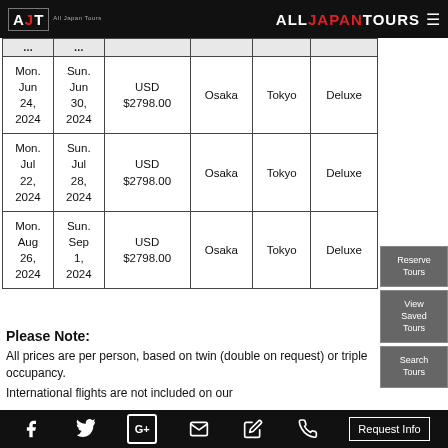AJT All Japan Tours — ALLJAPANTOURS
| Start | End | Price | From | To | Hotel |
| --- | --- | --- | --- | --- | --- |
| Mon. Jun 24, 2024 | Sun. Jun 30, 2024 | USD $2798.00 | Osaka | Tokyo | Deluxe |
| Mon. Jul 22, 2024 | Sun. Jul 28, 2024 | USD $2798.00 | Osaka | Tokyo | Deluxe |
| Mon. Aug 26, 2024 | Sun. Sep 1, 2024 | USD $2798.00 | Osaka | Tokyo | Deluxe |
Please Note: All prices are per person, based on twin (double on request) or triple occupancy. International flights are not included on our
Reserve Tours | View Saved Tours | Search Tours | Request Info